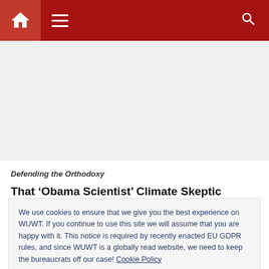WUWT navigation header with home, menu, and search icons
[Figure (other): Gray advertisement placeholder area]
Defending the Orthodoxy
That ‘Obama Scientist’ Climate Skeptic You’ve Been
We use cookies to ensure that we give you the best experience on WUWT. If you continue to use this site we will assume that you are happy with it. This notice is required by recently enacted EU GDPR rules, and since WUWT is a globally read website, we need to keep the bureaucrats off our case! Cookie Policy
Close and accept
Susan, Matthew Huber, Thomas Lovejoy, Ilissa Ocko